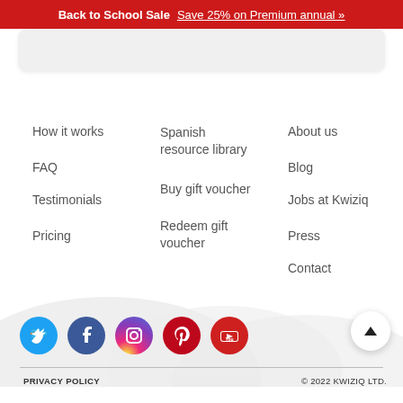Back to School Sale  Save 25% on Premium annual »
How it works
FAQ
Testimonials
Pricing
Spanish resource library
Buy gift voucher
Redeem gift voucher
About us
Blog
Jobs at Kwiziq
Press
Contact
[Figure (infographic): Row of five social media icons: Twitter (blue circle), Facebook (blue circle), Instagram (gradient circle), Pinterest (red circle), YouTube (red circle)]
PRIVACY POLICY    © 2022 KWIZIQ LTD.